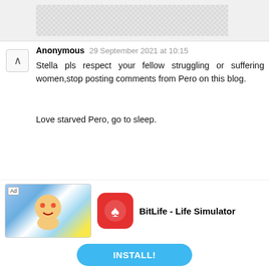[Figure (other): Top gray/checkered banner area]
Anonymous 29 September 2021 at 10:15
Stella pls respect your fellow struggling or suffering women,stop posting comments from Pero on this blog.

Love starved Pero, go to sleep.
Anonymous 29 September 2021 at 10:46
Lovelace, who are you to dictate to Stella what to
[Figure (other): Ad banner: BitLife - Life Simulator with INSTALL! button]